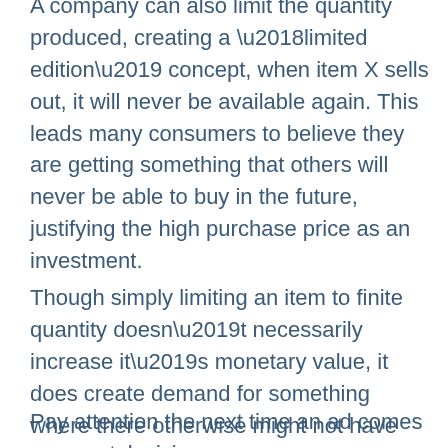A company can also limit the quantity produced, creating a ‘limited edition’ concept, when item X sells out, it will never be available again. This leads many consumers to believe they are getting something that others will never be able to buy in the future, justifying the high purchase price as an investment.
Though simply limiting an item to finite quantity doesn’t necessarily increase it’s monetary value, it does create demand for something where there otherwise might not have been as much of one.
Pay attention the next time an ad comes on your television. Understand that there will be...